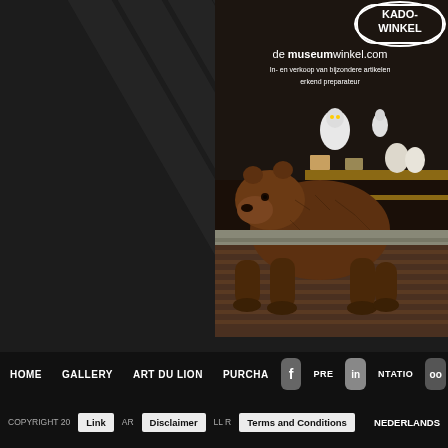[Figure (photo): Museum shop window display with a large stuffed brown bear in the foreground, taxidermy birds including a snowy owl, display shelves with natural history items, and a KADO-WINKEL / de museumwinkel.com advertisement overlay at top]
HOME   GALLERY   ART DU LION   PURCHASE   PRESENTATION   [Facebook] [LinkedIn] [00]
COPYRIGHT 20[..] Link  Disclaimer  Terms and Conditions  NEDERLANDS